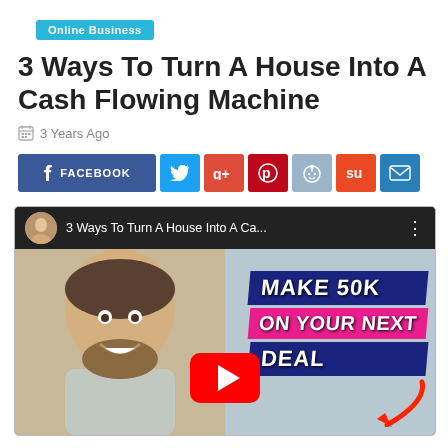Online Business
3 Ways To Turn A House Into A Cash Flowing Machine
3 Years Ago
[Figure (infographic): Social share buttons: Facebook, Twitter, Google+, Pinterest, Reddit, StumbleUpon, Email]
[Figure (screenshot): YouTube video thumbnail titled '3 Ways To Turn A House Into A Ca...' showing a man smiling with text overlay 'MAKE 50K ON YOUR NEXT DEAL' and a YouTube play button]